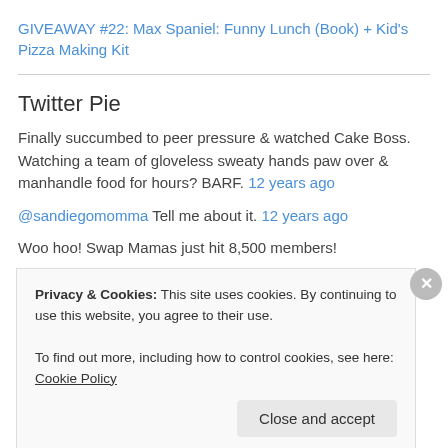GIVEAWAY #22: Max Spaniel: Funny Lunch (Book) + Kid's Pizza Making Kit
Twitter Pie
Finally succumbed to peer pressure & watched Cake Boss. Watching a team of gloveless sweaty hands paw over & manhandle food for hours? BARF. 12 years ago
@sandiegomomma Tell me about it. 12 years ago
Woo hoo! Swap Mamas just hit 8,500 members!
http://www.swanmamas.com 12 years ago
Privacy & Cookies: This site uses cookies. By continuing to use this website, you agree to their use.
To find out more, including how to control cookies, see here: Cookie Policy
Close and accept